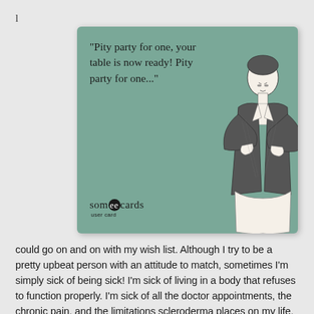l
[Figure (illustration): A someecards user card with a sage/teal green background. Text reads: 'Pity party for one, your table is now ready! Pity party for one...' with a vintage illustration of a man in a tuxedo with arms crossed. The someecards logo appears at the bottom left.]
could go on and on with my wish list. Although I try to be a pretty upbeat person with an attitude to match, sometimes I'm simply sick of being sick! I'm sick of living in a body that refuses to function properly. I'm sick of all the doctor appointments, the chronic pain, and the limitations scleroderma places on my life. I'm sick of finding out I need gum surgery and having to worry about what that means in terms of complications from scleroderma. I'm sick of not being able to open packaging, cram a book onto a